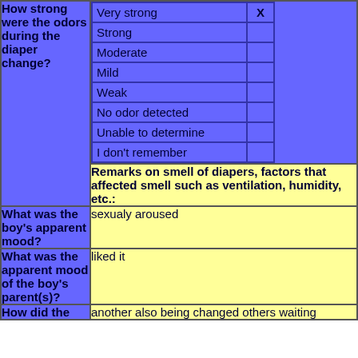| Question | Option | Selected |
| --- | --- | --- |
| How strong were the odors during the diaper change? | Very strong | X |
|  | Strong |  |
|  | Moderate |  |
|  | Mild |  |
|  | Weak |  |
|  | No odor detected |  |
|  | Unable to determine |  |
|  | I don't remember |  |
|  | Remarks on smell of diapers, factors that affected smell such as ventilation, humidity, etc.: |  |
| What was the boy's apparent mood? | sexualy aroused |  |
| What was the apparent mood of the boy's parent(s)? | liked it |  |
| How did the | another also being changed others waiting |  |